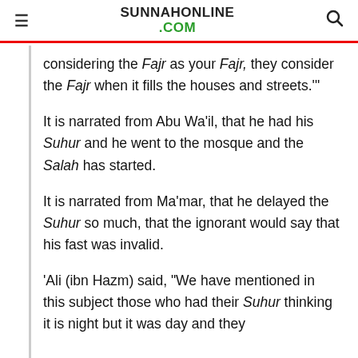SUNNAHONLINE .COM
considering the Fajr as your Fajr, they consider the Fajr when it fills the houses and streets.'"
It is narrated from Abu Wa'il, that he had his Suhur and he went to the mosque and the Salah has started.
It is narrated from Ma'mar, that he delayed the Suhur so much, that the ignorant would say that his fast was invalid.
'Ali (ibn Hazm) said, "We have mentioned in this subject those who had their Suhur thinking it is night but it was day and they